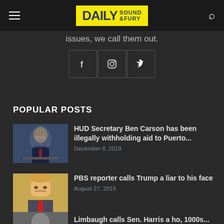Daily Sound & Fury
issues, we call them out.
[Figure (screenshot): Social media icon buttons: Facebook, Instagram, Twitter]
POPULAR POSTS
[Figure (photo): Photo of Ben Carson at a podium]
HUD Secretary Ben Carson has been illegally withholding aid to Puerto... December 8, 2019
[Figure (photo): Photo of Donald Trump]
PBS reporter calls Trump a liar to his face August 27, 2019
[Figure (photo): Partial photo at bottom]
Limbaugh calls Sen. Harris a ho, 1000s...